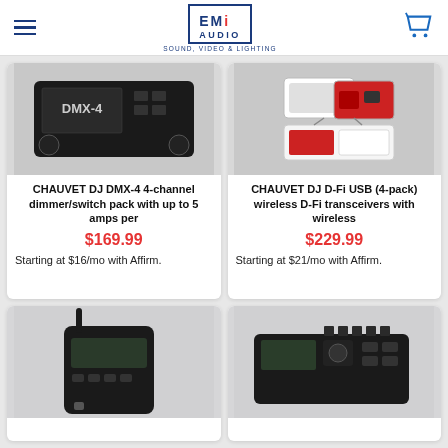EMI Audio - Sound, Video & Lighting
[Figure (photo): CHAUVET DJ DMX-4 4-channel dimmer/switch pack product photo, top-down view of black unit]
CHAUVET DJ DMX-4 4-channel dimmer/switch pack with up to 5 amps per
$169.99
Starting at $16/mo with Affirm.
[Figure (photo): CHAUVET DJ D-Fi USB 4-pack wireless D-Fi transceivers product photo, red and white devices]
CHAUVET DJ D-Fi USB (4-pack) wireless D-Fi transceivers with wireless
$229.99
Starting at $21/mo with Affirm.
[Figure (photo): Wireless DMX controller with antenna, black device with buttons and display]
[Figure (photo): Dimmer/switch pack controller unit, black device with multiple channels and display]